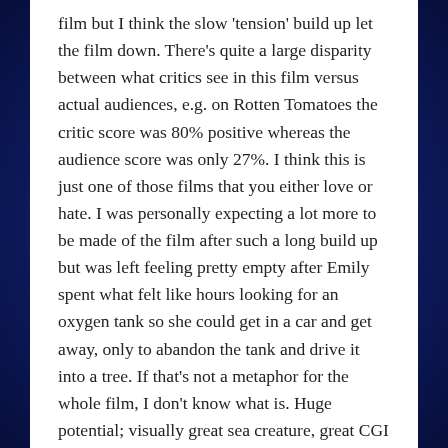film but I think the slow 'tension' build up let the film down. There's quite a large disparity between what critics see in this film versus actual audiences, e.g. on Rotten Tomatoes the critic score was 80% positive whereas the audience score was only 27%. I think this is just one of those films that you either love or hate. I was personally expecting a lot more to be made of the film after such a long build up but was left feeling pretty empty after Emily spent what felt like hours looking for an oxygen tank so she could get in a car and get away, only to abandon the tank and drive it into a tree. If that's not a metaphor for the whole film, I don't know what is. Huge potential; visually great sea creature, great CGI in the psychedelic scenes, gorey and